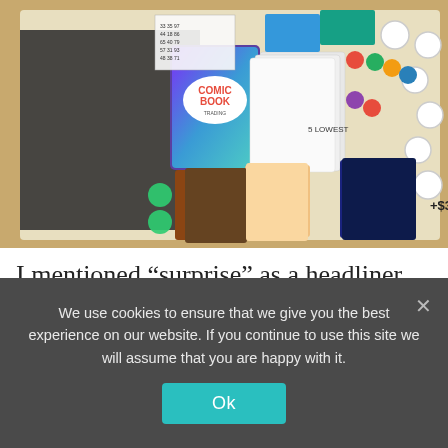[Figure (photo): Overhead photograph of a board game in progress showing the Comic Book themed game with colorful cards, game board with circles and tokens, comic book cards laid out including one labeled 'Comic Book', colored game pieces, scoring tracks, and game components on a wooden table surface.]
I mentioned “surprise” as a headliner because at the end of the game there are bonuses for majority genres in your back catalogue. Now, I
We use cookies to ensure that we give you the best experience on our website. If you continue to use this site we will assume that you are happy with it.